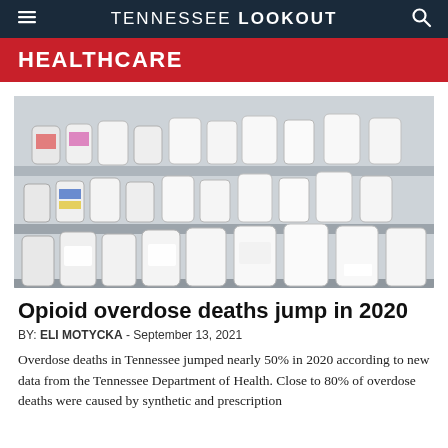TENNESSEE LOOKOUT
HEALTHCARE
[Figure (photo): Pharmacy shelves stocked with white prescription medicine bottles and various labeled pill containers on metal shelving.]
Opioid overdose deaths jump in 2020
BY: ELI MOTYCKA - September 13, 2021
Overdose deaths in Tennessee jumped nearly 50% in 2020 according to new data from the Tennessee Department of Health. Close to 80% of overdose deaths were caused by synthetic and prescription